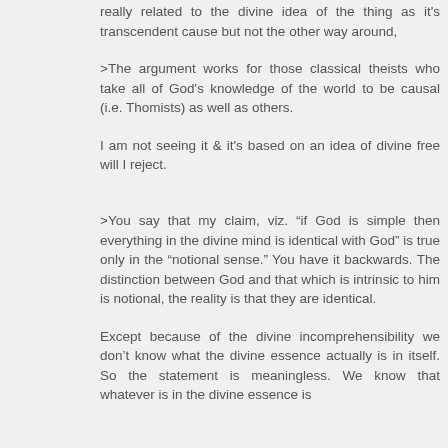really related to the divine idea of the thing as it's transcendent cause but not the other way around,
>The argument works for those classical theists who take all of God's knowledge of the world to be causal (i.e. Thomists) as well as others.
I am not seeing it & it's based on an idea of divine free will I reject.
>You say that my claim, viz. “if God is simple then everything in the divine mind is identical with God” is true only in the “notional sense.” You have it backwards. The distinction between God and that which is intrinsic to him is notional, the reality is that they are identical.
Except because of the divine incomprehensibility we don’t know what the divine essence actually is in itself. So the statement is meaningless. We know that whatever is in the divine essence is